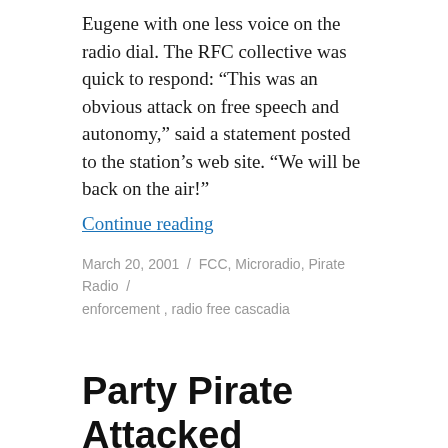Eugene with one less voice on the radio dial. The RFC collective was quick to respond: “This was an obvious attack on free speech and autonomy,” said a statement posted to the station’s web site. “We will be back on the air!”
Continue reading
March 20, 2001 / FCC, Microradio, Pirate Radio / enforcement, radio free cascadia
Party Pirate Attacked Again; Former Pirate to get Second Station
The FCC appears to be experiencing a moment of schizophrenia.